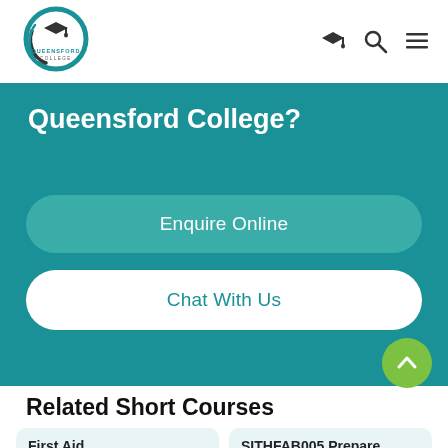[Figure (logo): Queensford College logo — circular teal/dark design with graduation cap and text 'QUEENSFORD COLLEGE']
[Figure (infographic): Navigation icons: graduation cap (profile), magnifying glass (search), hamburger menu]
Queensford College?
Enquire Online
Chat With Us
Related Short Courses
First Aid
SITHFAB005 Prepare